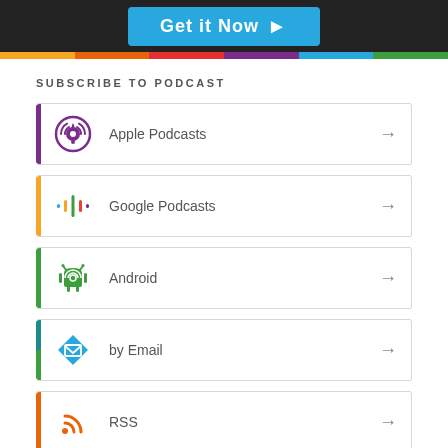[Figure (screenshot): Banner with dark background showing a 'Get it Now ▶' button in cyan/blue]
SUBSCRIBE TO PODCAST
Apple Podcasts
Google Podcasts
Android
by Email
RSS